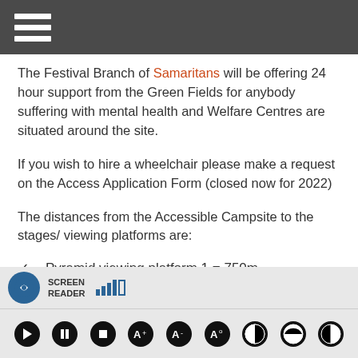☰ (hamburger menu)
The Festival Branch of Samaritans will be offering 24 hour support from the Green Fields for anybody suffering with mental health and Welfare Centres are situated around the site.
If you wish to hire a wheelchair please make a request on the Access Application Form (closed now for 2022)
The distances from the Accessible Campsite to the stages/viewing platforms are:
Pyramid viewing platform 1 = 750m
SCREEN READER [toolbar controls]